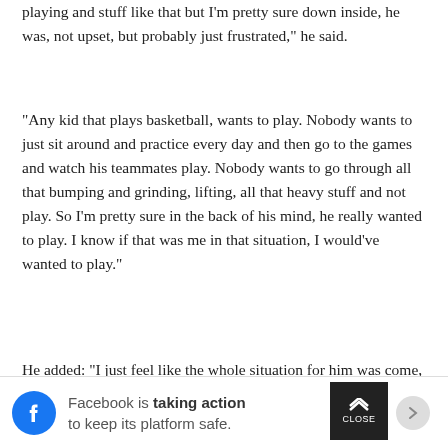playing and stuff like that but I'm pretty sure down inside, he was, not upset, but probably just frustrated," he said.
"Any kid that plays basketball, wants to play. Nobody wants to just sit around and practice every day and then go to the games and watch his teammates play. Nobody wants to go through all that bumping and grinding, lifting, all that heavy stuff and not play. So I'm pretty sure in the back of his mind, he really wanted to play. I know if that was me in that situation, I would've wanted to play."
He added: "I just feel like the whole situation for him was come, practice with us, learn the plays and start your
[Figure (infographic): Facebook advertisement banner: Facebook logo icon on the left, text reading 'Facebook is taking action to keep its platform safe.' with a close button and right arrow.]